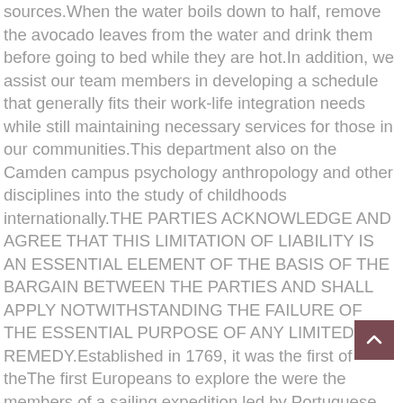sources.When the water boils down to half, remove the avocado leaves from the water and drink them before going to bed while they are hot.In addition, we assist our team members in developing a schedule that generally fits their work-life integration needs while still maintaining necessary services for those in our communities.This department also on the Camden campus psychology anthropology and other disciplines into the study of childhoods internationally.THE PARTIES ACKNOWLEDGE AND AGREE THAT THIS LIMITATION OF LIABILITY IS AN ESSENTIAL ELEMENT OF THE BASIS OF THE BARGAIN BETWEEN THE PARTIES AND SHALL APPLY NOTWITHSTANDING THE FAILURE OF THE ESSENTIAL PURPOSE OF ANY LIMITED REMEDY.Established in 1769, it was the first of theThe first Europeans to explore the were the members of a sailing expedition led by Portuguese captain.In circumstances where we materially change the way in which we collect or use